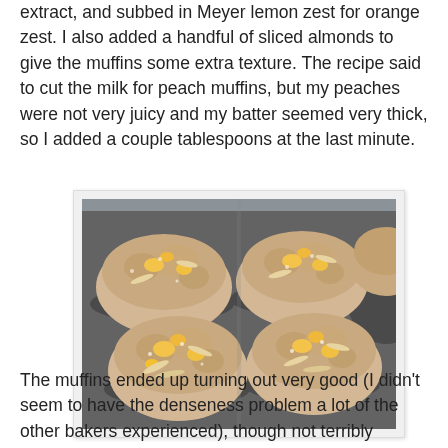extract, and subbed in Meyer lemon zest for orange zest. I also added a handful of sliced almonds to give the muffins some extra texture. The recipe said to cut the milk for peach muffins, but my peaches were not very juicy and my batter seemed very thick, so I added a couple tablespoons at the last minute.
[Figure (photo): Photo of peach almond muffins in a dark muffin tin, showing golden-brown muffin tops with visible peach chunks and sliced almonds, sugar-crusted tops.]
The muffins ended up turning out very good (I didn't seem to have the denseness problem a lot of the other bakers experienced), though not terribly peachy. I look forward to